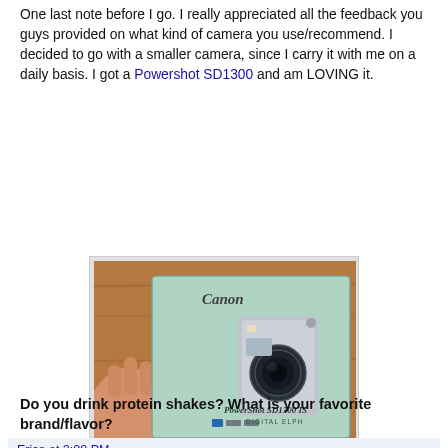One last note before I go. I really appreciated all the feedback you guys provided on what kind of camera you use/recommend. I decided to go with a smaller camera, since I carry it with me on a daily basis. I got a Powershot SD1300 and am LOVING it.
[Figure (photo): A hand holding the box for a Canon PowerShot SD1300 IS Digital ELPH camera. The box is light blue/green with an image of the silver camera on it. The text on the box reads 'Canon', 'PowerShot SD1300 IS', 'DIGITAL ELPH', along with spec icons at the bottom.]
Do you drink protein shakes? What is your favorite brand/flavor?
Erica at 2:00 PM